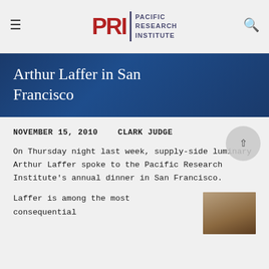Pacific Research Institute — Navigation header with logo, hamburger menu, and search icon
Arthur Laffer in San Francisco
NOVEMBER 15, 2010    CLARK JUDGE
On Thursday night last week, supply-side luminary Arthur Laffer spoke to the Pacific Research Institute's annual dinner in San Francisco.
Laffer is among the most consequential